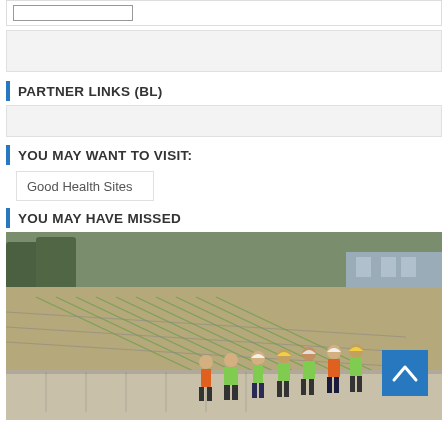PARTNER LINKS (BL)
YOU MAY WANT TO VISIT:
Good Health Sites
YOU MAY HAVE MISSED
[Figure (photo): Aerial view of a large construction site with workers in safety vests and hard hats standing along the edge of a concrete structure, looking over rebar-covered foundation work]